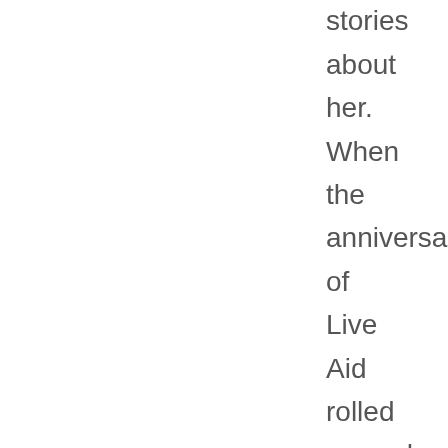tell stories about her. When the anniversary of Live Aid rolled around, I kept telling the story about what it was like to watch that in an internet-